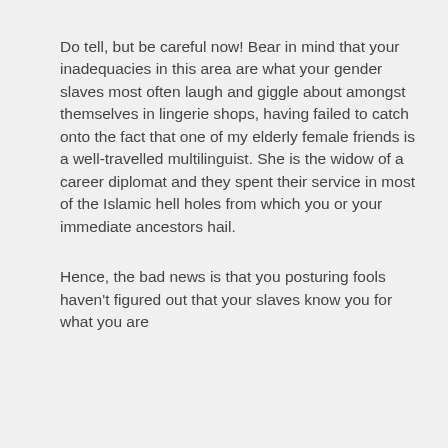Do tell, but be careful now! Bear in mind that your inadequacies in this area are what your gender slaves most often laugh and giggle about amongst themselves in lingerie shops, having failed to catch onto the fact that one of my elderly female friends is a well-travelled multilinguist. She is the widow of a career diplomat and they spent their service in most of the Islamic hell holes from which you or your immediate ancestors hail.
Hence, the bad news is that you posturing fools haven't figured out that your slaves know you for what you are